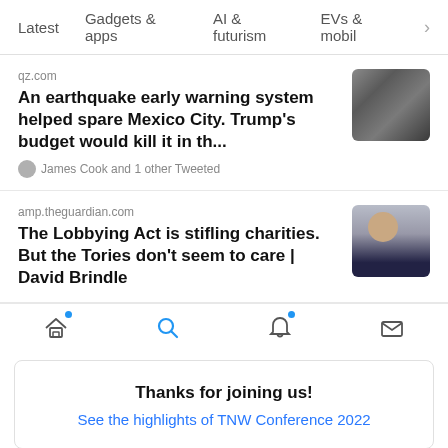Latest  Gadgets & apps  AI & futurism  EVs & mobil
qz.com
An earthquake early warning system helped spare Mexico City. Trump's budget would kill it in th...
James Cook and 1 other Tweeted
amp.theguardian.com
The Lobbying Act is stifling charities. But the Tories don't seem to care | David Brindle
Thanks for joining us!
See the highlights of TNW Conference 2022